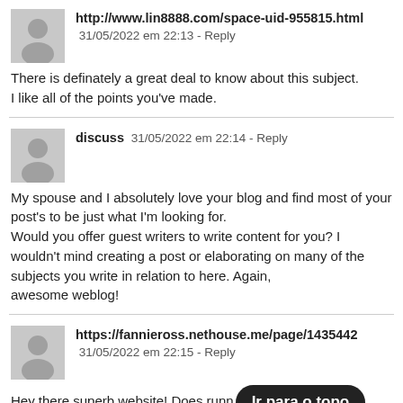http://www.lin8888.com/space-uid-955815.html  31/05/2022 em 22:13 - Reply
There is definately a great deal to know about this subject.
I like all of the points you've made.
discuss  31/05/2022 em 22:14 - Reply
My spouse and I absolutely love your blog and find most of your post's to be just what I'm looking for. Would you offer guest writers to write content for you? I wouldn't mind creating a post or elaborating on many of the subjects you write in relation to here. Again, awesome weblog!
https://fannieross.nethouse.me/page/1435442  31/05/2022 em 22:15 - Reply
Hey there superb website! Does runn… [Ir para o topo] take
a large amount of work? I've very little understanding of computer